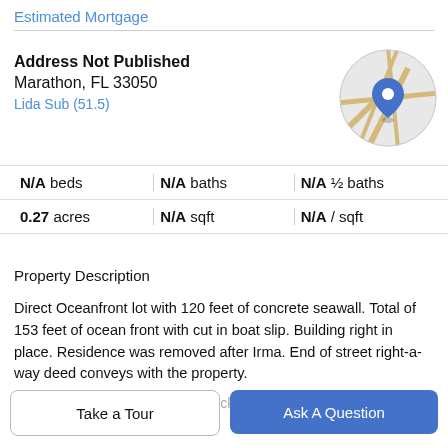Estimated Mortgage
Address Not Published
Marathon, FL 33050
Lida Sub (51.5)
[Figure (map): Circular map thumbnail with blue location pin marker]
| N/A beds | N/A baths | N/A ½ baths |
| 0.27 acres | N/A sqft | N/A / sqft |
Property Description
Direct Oceanfront lot with 120 feet of concrete seawall. Total of 153 feet of ocean front with cut in boat slip. Building right in place. Residence was removed after Irma. End of street right-a-way deed conveys with the property.
Huge lot. Oceanfront concrete dock 120 plus additional
Take a Tour
Ask A Question